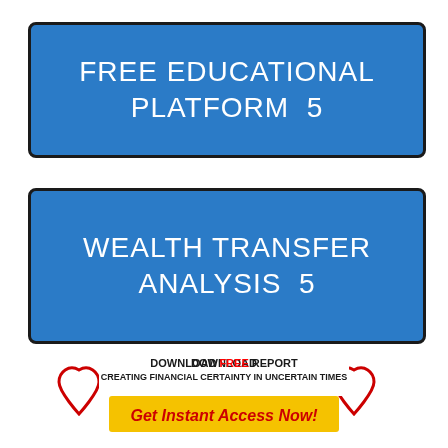FREE EDUCATIONAL PLATFORM 5
WEALTH TRANSFER ANALYSIS 5
[Figure (infographic): Download Free Report banner with red heart graphics, text reading DOWNLOAD FREE REPORT, CREATING FINANCIAL CERTAINTY IN UNCERTAIN TIMES, and Get Instant Access Now! button in yellow]